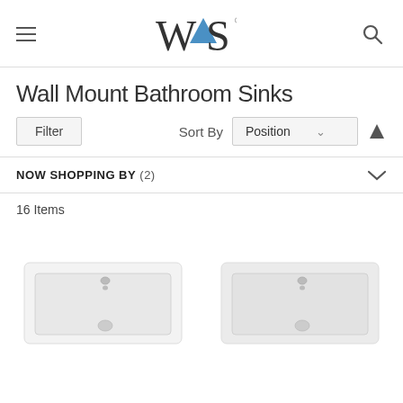[Figure (logo): WS Bath Collections logo with hamburger menu icon on left and search icon on right]
Wall Mount Bathroom Sinks
Filter   Sort By  Position  ↑
NOW SHOPPING BY (2)
16 Items
[Figure (photo): Two white rectangular wall mount bathroom sinks, side by side, partially cropped at bottom of page]